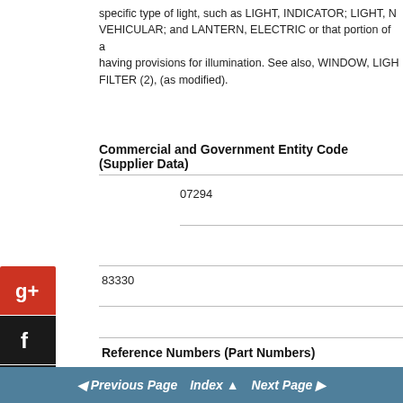specific type of light, such as LIGHT, INDICATOR; LIGHT, NA VEHICULAR; and LANTERN, ELECTRIC or that portion of a having provisions for illumination. See also, WINDOW, LIGH FILTER (2), (as modified).
Commercial and Government Entity Code (Supplier Data)
07294
83330
Reference Numbers (Part Numbers)
TA160WC
Previous Page  Index  Next Page